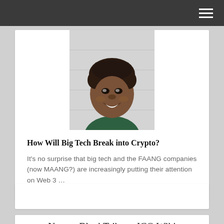[Figure (photo): Portrait photo of a young smiling Black man with natural curly hair, wearing a dark green shirt, photographed against a light background.]
How Will Big Tech Break into Crypto?
It's no surprise that big tech and the FAANG companies (now MAANG?) are increasingly putting their attention on Web 3 …
New at BlockTribune ICO Wiki